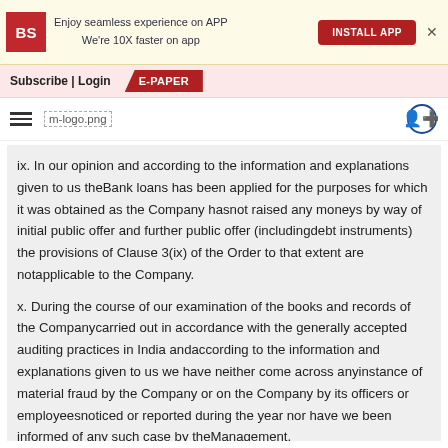Enjoy seamless experience on APP
We're 10X faster on app
INSTALL APP
Subscribe | Login  E-PAPER
[Figure (logo): m-logo.png with hamburger menu and share icon]
ix. In our opinion and according to the information and explanations given to us theBank loans has been applied for the purposes for which it was obtained as the Company hasnot raised any moneys by way of initial public offer and further public offer (includingdebt instruments) the provisions of Clause 3(ix) of the Order to that extent are notapplicable to the Company.
x. During the course of our examination of the books and records of the Companycarried out in accordance with the generally accepted auditing practices in India andaccording to the information and explanations given to us we have neither come across anyinstance of material fraud by the Company or on the Company by its officers or employeesnoticed or reported during the year nor have we been informed of any such case by theManagement.